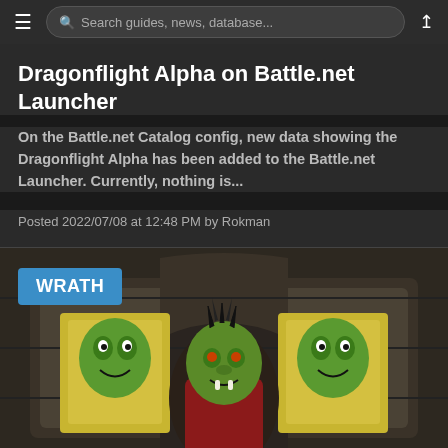Search guides, news, database...
Dragonflight Alpha on Battle.net Launcher
On the Battle.net Catalog config, new data showing the Dragonflight Alpha has been added to the Battle.net Launcher. Currently, nothing is...
Posted 2022/07/08 at 12:48 PM by Rokman
[Figure (screenshot): Game screenshot showing an orc character with WRATH badge overlay and two troll face banners on the sides in a stone dungeon setting]
THE BEST GAMING CONTENT, DELIVERED DAILY